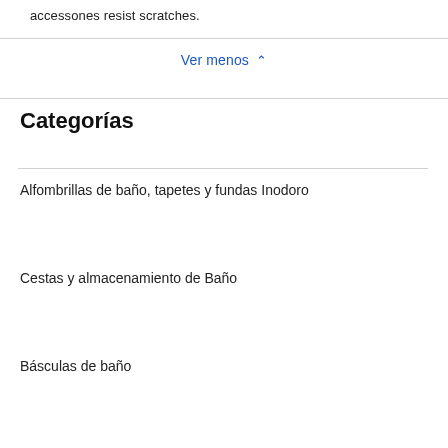accessones resist scratches.
Ver menos ∧
Categorías
Alfombrillas de baño, tapetes y fundas Inodoro
Cestas y almacenamiento de Baño
Básculas de baño